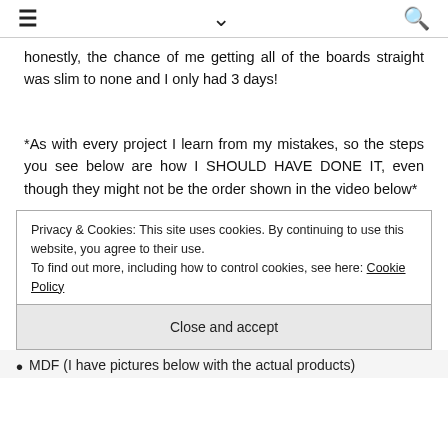≡  ∨  🔍
honestly, the chance of me getting all of the boards straight was slim to none and I only had 3 days!
*As with every project I learn from my mistakes, so the steps you see below are how I SHOULD HAVE DONE IT, even though they might not be the order shown in the video below*
Privacy & Cookies: This site uses cookies. By continuing to use this website, you agree to their use.
To find out more, including how to control cookies, see here: Cookie Policy
Close and accept
MDF (I have pictures below with the actual products)